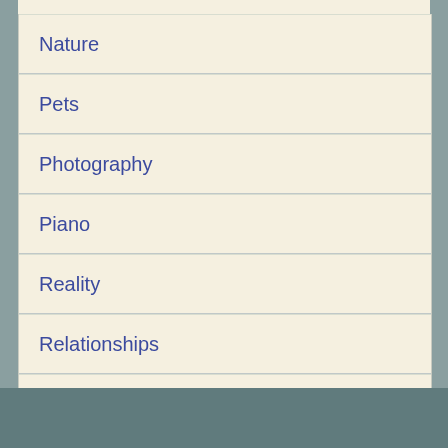Nature
Pets
Photography
Piano
Reality
Relationships
Sittin Ugly
Travel
Truth
writing